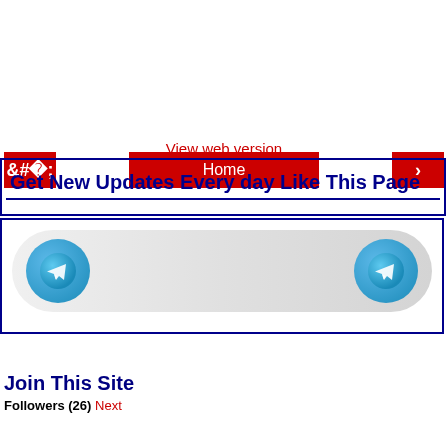[Figure (screenshot): Navigation bar with left arrow button (red), Home button (red, center), and right arrow button (red)]
View web version
Get New Updates Every day Like This Page
[Figure (infographic): Telegram channel join button widget with two Telegram icons on left and right ends of a pill-shaped gray button]
Join This Site
Followers (26) Next